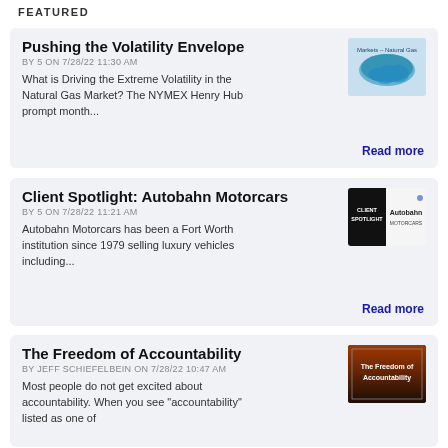FEATURED
Pushing the Volatility Envelope
BY 5 ON 7/28/22 11:30 AM
What is Driving the Extreme Volatility in the Natural Gas Market? The NYMEX Henry Hub prompt month...
Read more
[Figure (illustration): Map of USA with natural gas markets overlay, teal/blue coloring, text 'Markets - Natural Gas']
Client Spotlight: Autobahn Motorcars
BY 5 ON 7/28/22 11:21 AM
Autobahn Motorcars has been a Fort Worth institution since 1979 selling luxury vehicles including...
Read more
[Figure (logo): Client Spotlight logo with black box and Autobahn text]
The Freedom of Accountability
BY JEFF SCHIEFELBEIN ON 7/28/22 10:47 AM
Most people do not get excited about accountability. When you see "accountability" listed as one of
[Figure (illustration): The Freedom of Accountability thumbnail with orange/dark background]